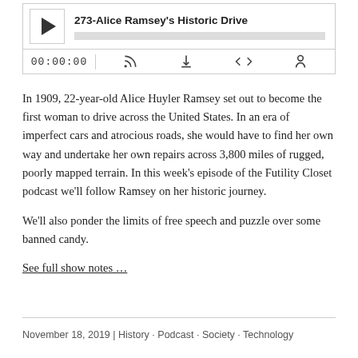[Figure (screenshot): Podcast audio player widget showing episode '273-Alice Ramsey's Historic Drive' with play button, progress bar, timestamp 00:00:00, and control icons]
In 1909, 22-year-old Alice Huyler Ramsey set out to become the first woman to drive across the United States. In an era of imperfect cars and atrocious roads, she would have to find her own way and undertake her own repairs across 3,800 miles of rugged, poorly mapped terrain. In this week's episode of the Futility Closet podcast we'll follow Ramsey on her historic journey.
We'll also ponder the limits of free speech and puzzle over some banned candy.
See full show notes …
November 18, 2019 | History · Podcast · Society · Technology